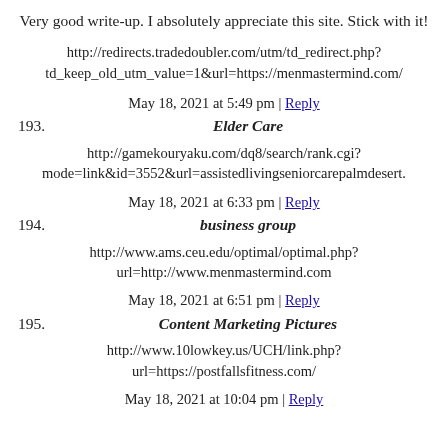Very good write-up. I absolutely appreciate this site. Stick with it!
http://redirects.tradedoubler.com/utm/td_redirect.php?td_keep_old_utm_value=1&url=https://menmastermind.com/
May 18, 2021 at 5:49 pm | Reply
193. Elder Care
http://gamekouryaku.com/dq8/search/rank.cgi?mode=link&id=3552&url=assistedlivingseniorcarepalmdesert.
May 18, 2021 at 6:33 pm | Reply
194. business group
http://www.ams.ceu.edu/optimal/optimal.php?url=http://www.menmastermind.com
May 18, 2021 at 6:51 pm | Reply
195. Content Marketing Pictures
http://www.10lowkey.us/UCH/link.php?url=https://postfallsfitness.com/
May 18, 2021 at 10:04 pm | Reply